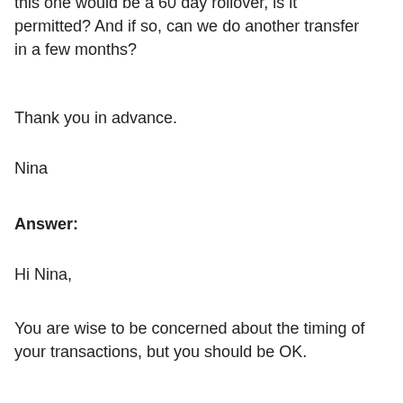this one would be a 60 day rollover, is it permitted? And if so, can we do another transfer in a few months?
Thank you in advance.
Nina
Answer:
Hi Nina,
You are wise to be concerned about the timing of your transactions, but you should be OK.